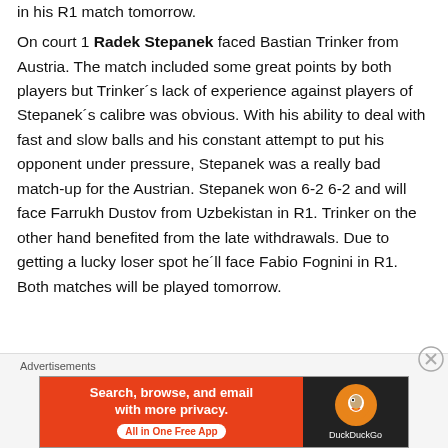in his R1 match tomorrow.
On court 1 Radek Stepanek faced Bastian Trinker from Austria. The match included some great points by both players but Trinker´s lack of experience against players of Stepanek´s calibre was obvious. With his ability to deal with fast and slow balls and his constant attempt to put his opponent under pressure, Stepanek was a really bad match-up for the Austrian. Stepanek won 6-2 6-2 and will face Farrukh Dustov from Uzbekistan in R1. Trinker on the other hand benefited from the late withdrawals. Due to getting a lucky loser spot he´ll face Fabio Fognini in R1. Both matches will be played tomorrow.
Advertisements
[Figure (other): DuckDuckGo advertisement banner: orange left side with text 'Search, browse, and email with more privacy. All in One Free App' and dark right side with DuckDuckGo duck logo]